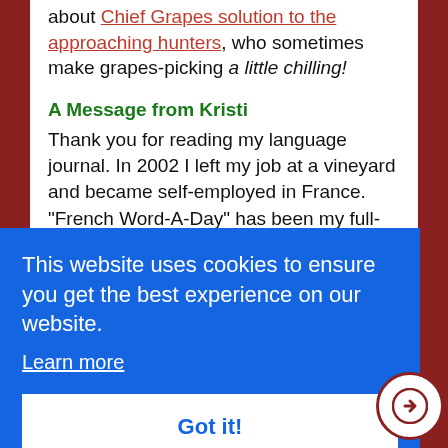about Chief Grapes solution to the approaching hunters, who sometimes make grapes-picking a little chilling!
A Message from Kristi
Thank you for reading my language journal. In 2002 I left my job at a vineyard and became self-employed in France. "French Word-A-Day" has been my full-time occupation ever since. Ongoing support from readers like you helps keep this site ad-free and allows me to focus on the creative process of writing. My wish is to
This website uses cookies to ensure you get the best experience on our website.
Learn more
Got it!